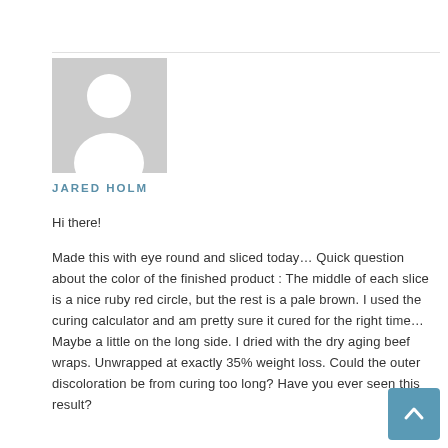[Figure (illustration): Generic user avatar placeholder image — grey background with white silhouette of a person (head and shoulders)]
JARED HOLM
Hi there!
Made this with eye round and sliced today… Quick question about the color of the finished product : The middle of each slice is a nice ruby red circle, but the rest is a pale brown. I used the curing calculator and am pretty sure it cured for the right time… Maybe a little on the long side. I dried with the dry aging beef wraps. Unwrapped at exactly 35% weight loss. Could the outer discoloration be from curing too long? Have you ever seen this result?